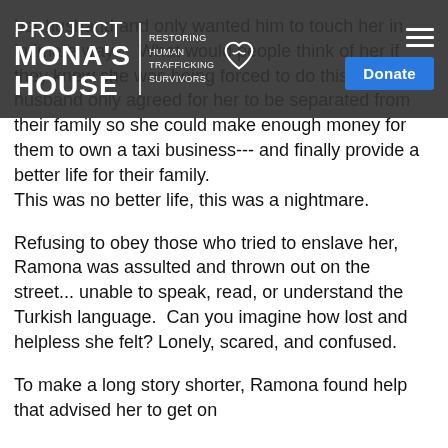her husband and only wanted him to touch her in intimate ways.  What would people think of her if they knew she was being forced to do this?  Her husband only agreed for her to be separated from their family so she could make enough money for them to own a taxi business--- and finally provide a better life for their family. This was no better life, this was a nightmare.
[Figure (logo): Project Mona's House logo with tagline 'Restoring Human Trafficking Survivors' and heart icon, overlaid on navigation bar with hamburger menu and Donate button]
Refusing to obey those who tried to enslave her, Ramona was assulted and thrown out on the street... unable to speak, read, or understand the Turkish language.  Can you imagine how lost and helpless she felt? Lonely, scared, and confused.
To make a long story shorter, Ramona found help that advised her to get on